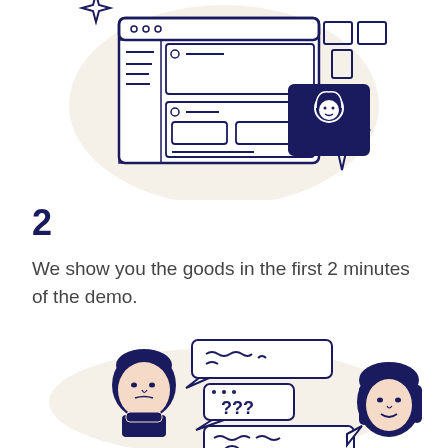[Figure (illustration): Hand-drawn illustration of a web browser/app interface with UI elements (sidebar, form fields, input boxes) and a video call participant icon, surrounded by decorative sparkle/star shapes, on a cream circular background.]
2
We show you the goods in the first 2 minutes of the demo.
[Figure (illustration): Hand-drawn illustration of two people in a conversation: a man on the left with speech bubbles showing wavy text lines and '???', and a woman on the right with a speech bubble showing wavy text and a smiley face, on a cream circular background.]